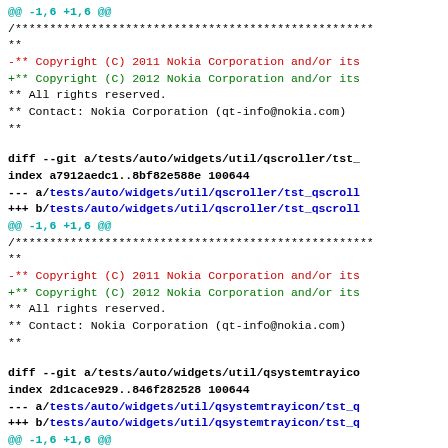@@ -1,6 +1,6 @@
 /***...
 **
 -** Copyright (C) 2011 Nokia Corporation and/or its
 +** Copyright (C) 2012 Nokia Corporation and/or its
  ** All rights reserved.
  ** Contact: Nokia Corporation (qt-info@nokia.com)
  **

diff --git a/tests/auto/widgets/util/qscroller/tst_
index a7912aedc1..8bf82e588e 100644n--- a/tests/auto/widgets/util/qscroller/tst_qscroll
+++ b/tests/auto/widgets/util/qscroller/tst_qscroll
@@ -1,6 +1,6 @@
 /***...
 **
 -** Copyright (C) 2011 Nokia Corporation and/or its
 +** Copyright (C) 2012 Nokia Corporation and/or its
  ** All rights reserved.
  ** Contact: Nokia Corporation (qt-info@nokia.com)
  **

diff --git a/tests/auto/widgets/util/qsystemtrayico
index 2d1cace929..846f282528 100644
--- a/tests/auto/widgets/util/qsystemtrayicon/tst_q
+++ b/tests/auto/widgets/util/qsystemtrayicon/tst_q
@@ -1,6 +1,6 @@
 /***...
 **
 -** Copyright (C) 2011 Nokia Corporation and/or its
 +** Copyright (C) 2012 Nokia Corporation and/or its